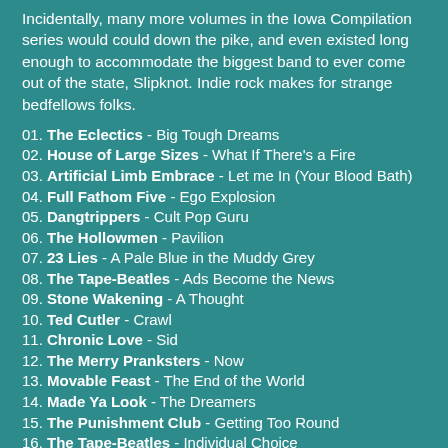Incidentally, many more volumes in the Iowa Compilation series would could down the pike, and even existed long enough to accommodate the biggest band to ever come out of the state, Slipknot. Indie rock makes for strange bedfellows folks.
01. The Eclectics - Big Tough Dreams
02. House of Large Sizes - What If There's a Fire
03. Artificial Limb Embrace - Let me In (Your Blood Bath)
04. Full Fathom Five - Ego Explosion
05. Dangtrippers - Cult Pop Guru
06. The Hollowmen - Pavilion
07. 23 Lies - A Pale Blue in the Muddy Grey
08. The Tape-Beatles - Ads Become the News
09. Stone Wakening - A Thought
10. Ted Cutler - Crawl
11. Chronic Love - Sid
12. The Merry Pranksters - Now
13. Movable Feast - The End of the World
14. Made Ya Look - The Dreamers
15. The Punishment Club - Getting Too Round
16. The Tape-Beatles - Individual Choice